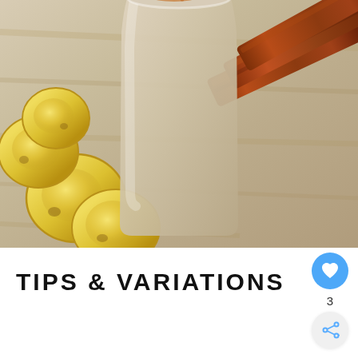[Figure (photo): A smoothie or milkshake in a glass with cinnamon sprinkled on top, surrounded by sliced bananas and cinnamon sticks on a wooden surface.]
TIPS & VARIATIONS